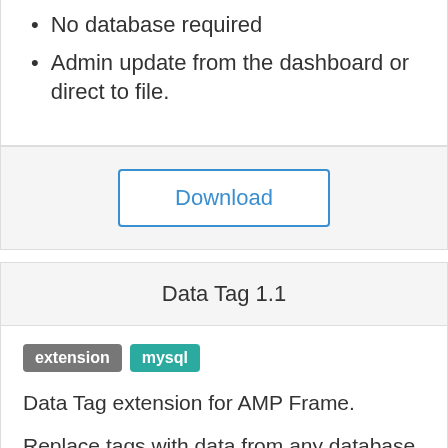No database required
Admin update from the dashboard or direct to file.
Download
Data Tag 1.1
extension  mysql
Data Tag extension for AMP Frame.
Replace tags with data from any database field by running the text through this filter.